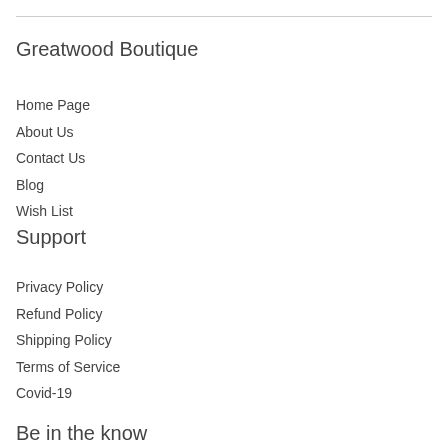Greatwood Boutique
Home Page
About Us
Contact Us
Blog
Wish List
Support
Privacy Policy
Refund Policy
Shipping Policy
Terms of Service
Covid-19
Be in the know